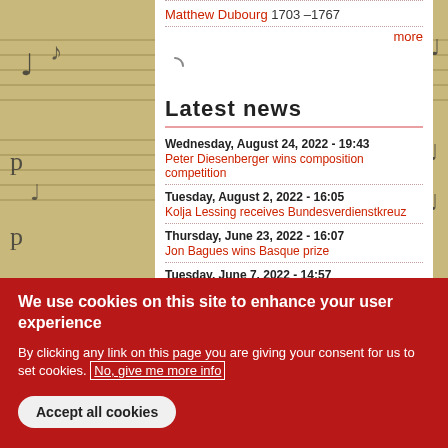Matthew Dubourg 1703 –1767
more
Latest news
Wednesday, August 24, 2022 - 19:43
Peter Diesenberger wins composition competition
Tuesday, August 2, 2022 - 16:05
Kolja Lessing receives Bundesverdienstkreuz
Thursday, June 23, 2022 - 16:07
Jon Bagues wins Basque prize
Tuesday, June 7, 2022 - 14:57
Swiss music prize for Daniel Ott
We use cookies on this site to enhance your user experience
By clicking any link on this page you are giving your consent for us to set cookies. No, give me more info
Accept all cookies